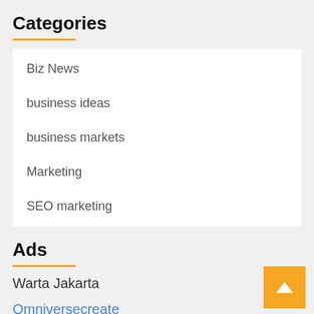Categories
Biz News
business ideas
business markets
Marketing
SEO marketing
Ads
Warta Jakarta
Omniversecreate
Asmaul Husna